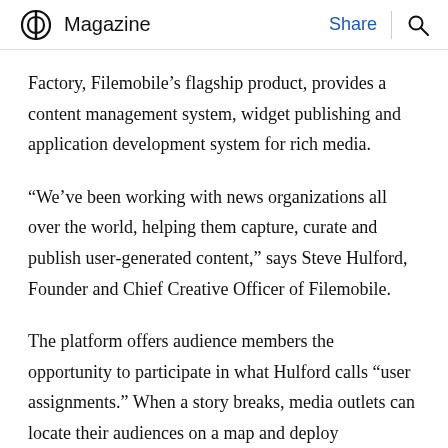Magazine | Share
Factory, Filemobile’s flagship product, provides a content management system, widget publishing and application development system for rich media.
“We’ve been working with news organizations all over the world, helping them capture, curate and publish user-generated content,” says Steve Hulford, Founder and Chief Creative Officer of Filemobile.
The platform offers audience members the opportunity to participate in what Hulford calls “user assignments.” When a story breaks, media outlets can locate their audiences on a map and deploy geo-specific mobile alerts, motivating users to capture and share their own